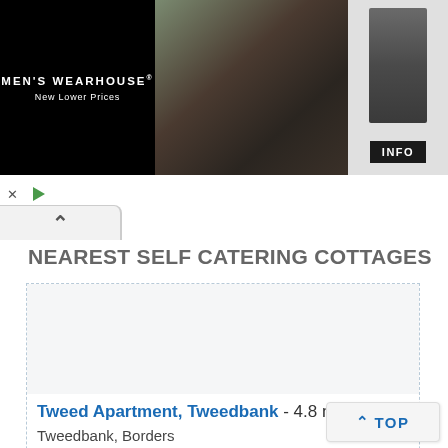[Figure (screenshot): Men's Wearhouse advertisement banner showing a couple (man in black tuxedo, woman in formal dress) and a man in a gray suit, with 'INFO' button. Black background with 'MEN'S WEARHOUSE New Lower Prices' text.]
NEAREST SELF CATERING COTTAGES
[Figure (photo): Property listing image placeholder (white/light gray area)]
Tweed Apartment, Tweedbank - 4.8 miles
Tweedbank, Borders
Sleeps: 4
Stay from: £331.00 - 1413.00